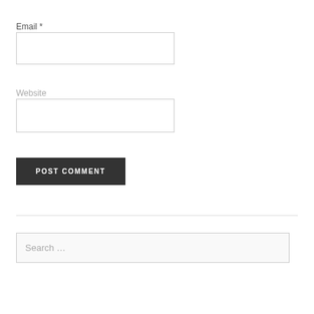Email *
[Figure (other): Email input text field (empty)]
Website
[Figure (other): Website input text field (empty)]
[Figure (other): POST COMMENT button]
[Figure (other): Horizontal divider line]
[Figure (other): Search input field with placeholder text 'Search ...']